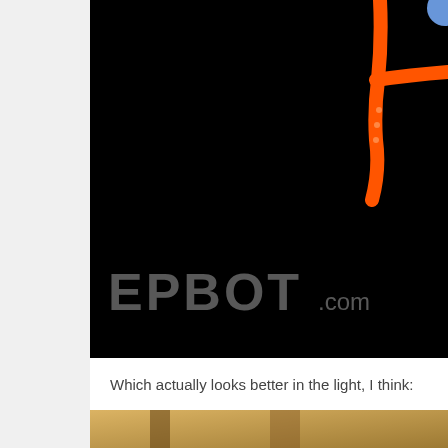[Figure (photo): Dark/black background photo showing orange neon light shapes (partial view of a neon sign or decoration) in the upper right, with EPBOT.com watermark in gray at the bottom of the image]
Which actually looks better in the light, I think:
[Figure (photo): Partial view of a photo with warm golden/brown tones, bottom of page, cropped]